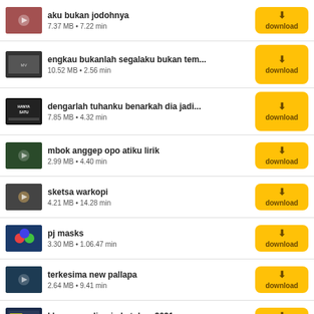aku bukan jodohnya
7.37 MB • 7.22 min
engkau bukanlah segalaku bukan tem...
10.52 MB • 2.56 min
dengarlah tuhanku benarkah dia jadi...
7.85 MB • 4.32 min
mbok anggep opo atiku lirik
2.99 MB • 4.40 min
sketsa warkopi
4.21 MB • 14.28 min
pj masks
3.30 MB • 1.06.47 min
terkesima new pallapa
2.64 MB • 9.41 min
klasemen olimpiade tokyo 2021
9.48 MB • 2.03 min